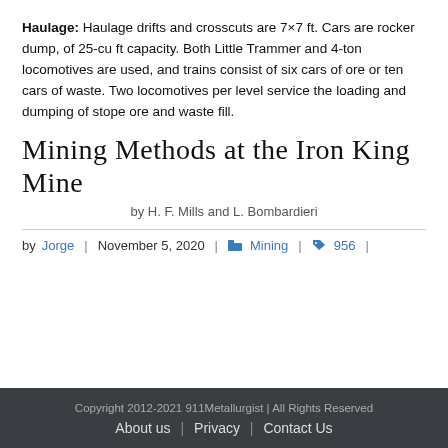Haulage: Haulage drifts and crosscuts are 7×7 ft. Cars are rocker dump, of 25-cu ft capacity. Both Little Trammer and 4-ton locomotives are used, and trains consist of six cars of ore or ten cars of waste. Two locomotives per level service the loading and dumping of stope ore and waste fill.
Mining Methods at the Iron King Mine
by H. F. Mills and L. Bombardieri
by Jorge | November 5, 2020 | Mining | 956 |
Copyright 2012-2021 911Metallurgist | All Rights Reserved About us | Privacy | Contact Us